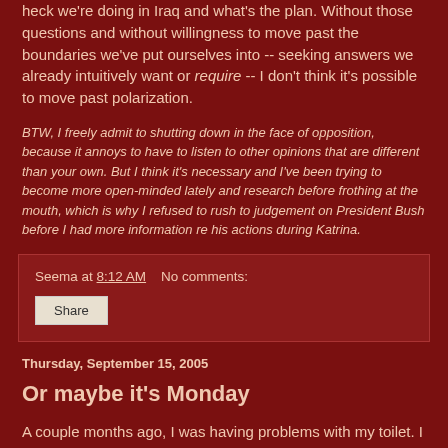heck we're doing in Iraq and what's the plan. Without those questions and without willingness to move past the boundaries we've put ourselves into -- seeking answers we already intuitively want or require -- I don't think it's possible to move past polarization.
BTW, I freely admit to shutting down in the face of opposition, because it annoys to have to listen to other opinions that are different than your own. But I think it's necessary and I've been trying to become more open-minded lately and research before frothing at the mouth, which is why I refused to rush to judgement on President Bush before I had more information re his actions during Katrina.
Seema at 8:12 AM   No comments:
Share
Thursday, September 15, 2005
Or maybe it's Monday
A couple months ago, I was having problems with my toilet. I